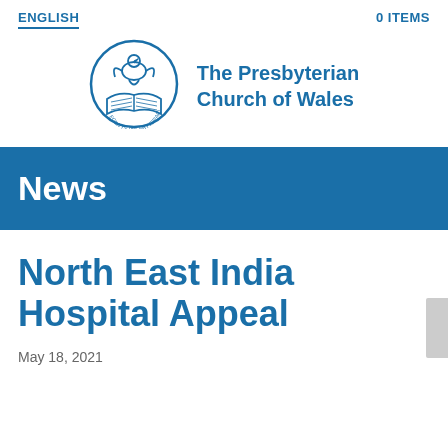ENGLISH    0 ITEMS
[Figure (logo): The Presbyterian Church of Wales circular logo with dove and open book]
The Presbyterian Church of Wales
News
North East India Hospital Appeal
May 18, 2021